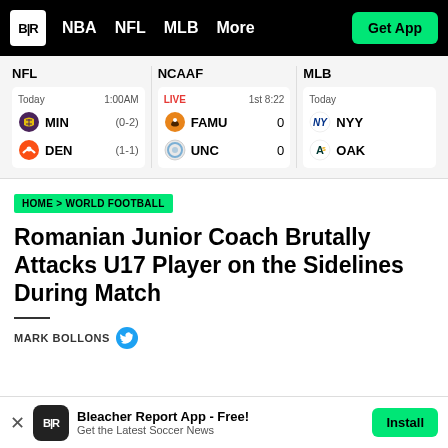B|R  NBA  NFL  MLB  More  Get App
| NFL | NCAAF | MLB |
| --- | --- | --- |
| Today 1:00AM | LIVE 1st 8:22 | Today |
| MIN (0-2) | FAMU 0 | NYY |
| DEN (1-1) | UNC 0 | OAK |
HOME > WORLD FOOTBALL
Romanian Junior Coach Brutally Attacks U17 Player on the Sidelines During Match
MARK BOLLONS
Bleacher Report App - Free! Get the Latest Soccer News  Install